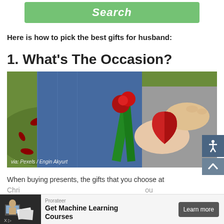[Figure (other): Green Search button partially visible at top of page]
Here is how to pick the best gifts for husband:
1. What's The Occasion?
[Figure (photo): Photo of hands holding a red felt heart shape with rose petals scattered on grass in background. Credit: via: Pexels / Engin Akyurt]
When buying presents, the gifts that you choose at Chri... ou
[Figure (other): Advertisement banner: Prorateer - Get Machine Learning Courses - Learn more button]